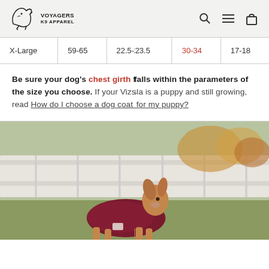Voyagers K9 Apparel
| X-Large | 59-65 | 22.5-23.5 | 30-34 | 17-18 |
Be sure your dog's chest girth falls within the parameters of the size you choose. If your Vizsla is a puppy and still growing, read How do I choose a dog coat for my puppy?
[Figure (photo): Small dog (Yorkshire Terrier) wearing a dark red/maroon dog coat, standing outdoors in front of a white fence with autumn foliage in background]